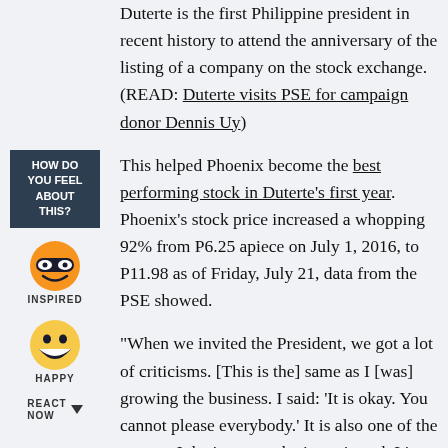Duterte is the first Philippine president in recent history to attend the anniversary of the listing of a company on the stock exchange. (READ: Duterte visits PSE for campaign donor Dennis Uy)
This helped Phoenix become the best performing stock in Duterte's first year. Phoenix's stock price increased a whopping 92% from P6.25 apiece on July 1, 2016, to P11.98 as of Friday, July 21, data from the PSE showed.
“When we invited the President, we got a lot of criticisms. [This is the] same as I [was] growing the business. I said: ‘It is okay. You cannot please everybody.’ It is also one of the reasons I don’t want to be interviewed. I just want to do my job. I don’t want attention,” Uy told Rappler.